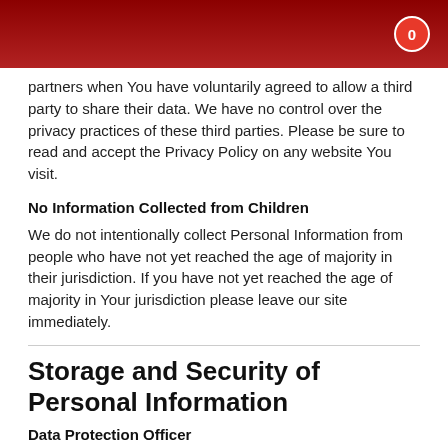0
partners when You have voluntarily agreed to allow a third party to share their data. We have no control over the privacy practices of these third parties. Please be sure to read and accept the Privacy Policy on any website You visit.
No Information Collected from Children
We do not intentionally collect Personal Information from people who have not yet reached the age of majority in their jurisdiction. If you have not yet reached the age of majority in Your jurisdiction please leave our site immediately.
Storage and Security of Personal Information
Data Protection Officer
We have designated a Data Protection Officer (DPO) for Us who has the duty to: Ensure by contract that third parties to whom the company transfers personal information will adequately protect the information and use it only for specified lawful purposes; protect Your personal data using appropriate security measures; notify